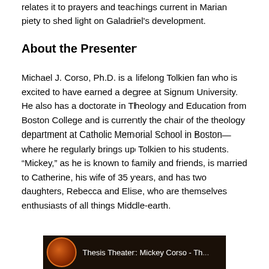relates it to prayers and teachings current in Marian piety to shed light on Galadriel's development.
About the Presenter
Michael J. Corso, Ph.D. is a lifelong Tolkien fan who is excited to have earned a degree at Signum University. He also has a doctorate in Theology and Education from Boston College and is currently the chair of the theology department at Catholic Memorial School in Boston—where he regularly brings up Tolkien to his students. “Mickey,” as he is known to family and friends, is married to Catherine, his wife of 35 years, and has two daughters, Rebecca and Elise, who are themselves enthusiasts of all things Middle-earth.
[Figure (screenshot): Thumbnail of a video titled 'Thesis Theater: Mickey Corso - Th...' with a circular logo/avatar on a dark background bar at the bottom of the page.]